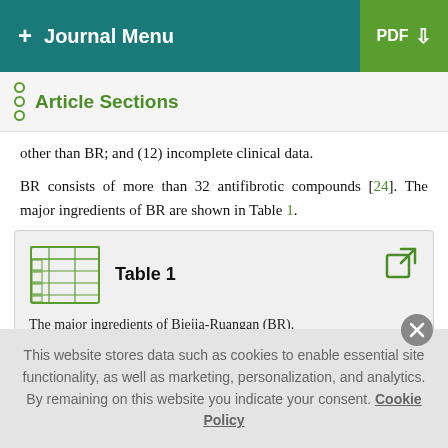+ Journal Menu | PDF ↓
Article Sections
other than BR; and (12) incomplete clinical data.
BR consists of more than 32 antifibrotic compounds [24]. The major ingredients of BR are shown in Table 1.
Table 1 — The major ingredients of Biejia-Ruangan (BR).
The definition of BR therapy (BR users) was as follows: medical
This website stores data such as cookies to enable essential site functionality, as well as marketing, personalization, and analytics. By remaining on this website you indicate your consent. Cookie Policy